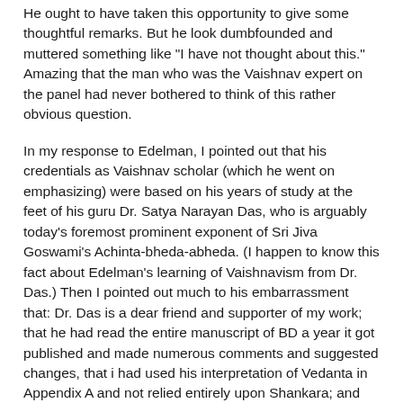He ought to have taken this opportunity to give some thoughtful remarks. But he look dumbfounded and muttered something like "I have not thought about this." Amazing that the man who was the Vaishnav expert on the panel had never bothered to think of this rather obvious question.
In my response to Edelman, I pointed out that his credentials as Vaishnav scholar (which he went on emphasizing) were based on his years of study at the feet of his guru Dr. Satya Narayan Das, who is arguably today's foremost prominent exponent of Sri Jiva Goswami's Achinta-bheda-abheda. (I happen to know this fact about Edelman's learning of Vaishnavism from Dr. Das.) Then I pointed out much to his embarrassment that: Dr. Das is a dear friend and supporter of my work; that he had read the entire manuscript of BD a year it got published and made numerous comments and suggested changes, that i had used his interpretation of Vedanta in Appendix A and not relied entirely upon Shankara; and that he had written a most wonderful endorsement of this book. This completely slid the rug from under the feet of this scholar.